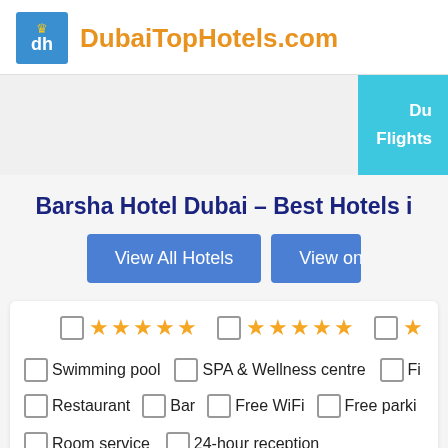DubaiTopHotels.com
Barsha Hotel Dubai – Best Hotels i
View All Hotels | View on
Du Flights
☐ ★★★★★  ☐ ★★★★★  ☐ ★★
☐ Swimming pool  ☐ SPA & Wellness centre  ☐ Fi
☐ Restaurant  ☐ Bar  ☐ Free WiFi  ☐ Free parki
☐ Room service  ☐ 24-hour reception